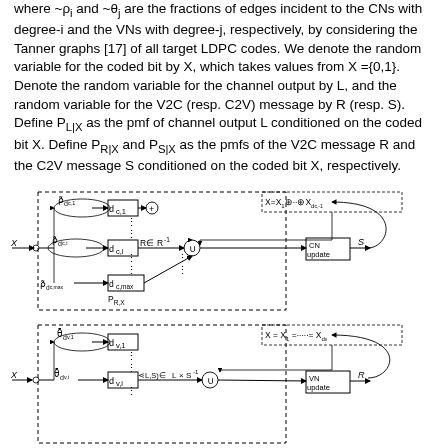where ~ρ_i and ~θ_j are the fractions of edges incident to the CNs with degree-i and the VNs with degree-j, respectively, by considering the Tanner graphs [17] of all target LDPC codes. We denote the random variable for the coded bit by X, which takes values from X={0,1}. Denote the random variable for the channel output by L, and the random variable for the V2C (resp. C2V) message by R (resp. S). Define P_{L|X} as the pmf of channel output L conditioned on the coded bit X. Define P_{R|X} and P_{S|X} as the pmfs of the V2C message R and the C2V message S conditioned on the coded bit X, respectively.
[Figure (engineering-diagram): Block diagram showing CN update and VN update processing blocks. Upper section: input X goes through mixture of distributions (rho_d_c1, rho_d_ci, rho_d_cmax) feeding delay blocks d_c1, d_ci, d_cmax, combined with R in R^{-1} into union block, then into CN update block outputting S. A feedback loop shows X = X_1 ⊕ ... ⊕ X_{d_c-1}. P_{R,X} label shown. Lower section: input X feeds through theta_d_v1, theta_d_vi mixture feeding delay blocks d_v1, d_vi, combined with (L,S) in L x S^{-1} into union, then VN update block outputting R. Feedback shows X = X_1 = ... = X_{d_v}.]